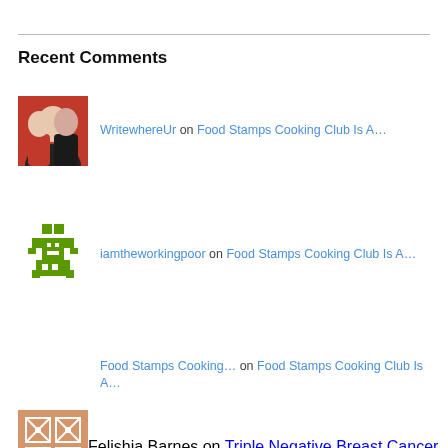Recent Comments
WritewhereUr on Food Stamps Cooking Club Is A...
iamtheworkingpoor on Food Stamps Cooking Club Is A...
Food Stamps Cooking... on Food Stamps Cooking Club Is A...
Felishia Barnes on Triple Negative Breast Cancer
Privacy & Cookies: This site uses cookies. By continuing to use this website, you agree to their use. To find out more, including how to control cookies, see here: Cookie Policy
Close and accept